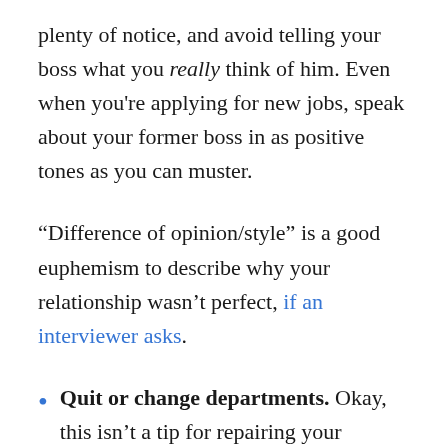plenty of notice, and avoid telling your boss what you really think of him. Even when you're applying for new jobs, speak about your former boss in as positive tones as you can muster.
“Difference of opinion/style” is a good euphemism to describe why your relationship wasn’t perfect, if an interviewer asks.
Quit or change departments. Okay, this isn’t a tip for repairing your relationship with